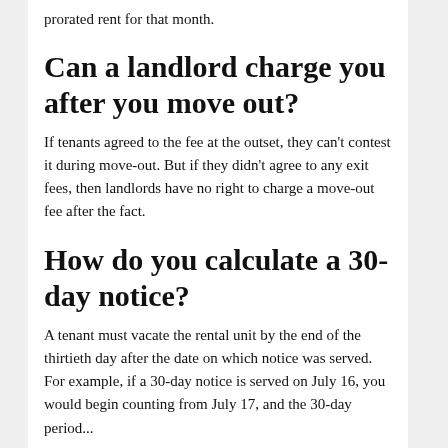prorated rent for that month.
Can a landlord charge you after you move out?
If tenants agreed to the fee at the outset, they can't contest it during move-out. But if they didn't agree to any exit fees, then landlords have no right to charge a move-out fee after the fact.
How do you calculate a 30-day notice?
A tenant must vacate the rental unit by the end of the thirtieth day after the date on which notice was served. For example, if a 30-day notice is served on July 16, you would begin counting from July 17, and the 30-day period...